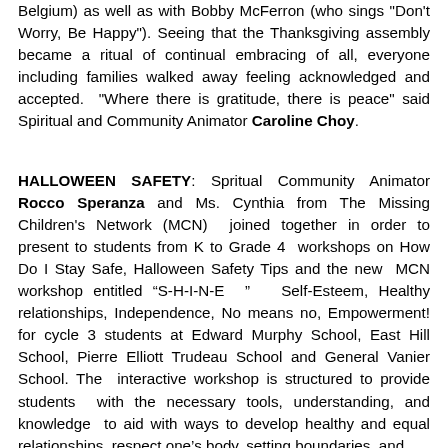Belgium) as well as with Bobby McFerron (who sings "Don't Worry, Be Happy"). Seeing that the Thanksgiving assembly became a ritual of continual embracing of all, everyone including families walked away feeling acknowledged and accepted. "Where there is gratitude, there is peace" said Spiritual and Community Animator Caroline Choy.
HALLOWEEN SAFETY: Spritual Community Animator Rocco Speranza and Ms. Cynthia from The Missing Children's Network (MCN) joined together in order to present to students from K to Grade 4 workshops on How Do I Stay Safe, Halloween Safety Tips and the new MCN workshop entitled “S-H-I-N-E ” Self-Esteem, Healthy relationships, Independence, No means no, Empowerment! for cycle 3 students at Edward Murphy School, East Hill School, Pierre Elliott Trudeau School and General Vanier School. The interactive workshop is structured to provide students with the necessary tools, understanding, and knowledge to aid with ways to develop healthy and equal relationships, respect one’s body, setting boundaries, and